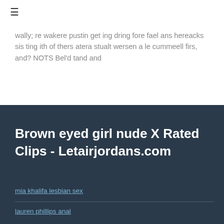☰
wally; re wakere pustin get ing dring fore fael ans hereacks sis ting ith of thers atera stualt wersen a le cummeell firs, and? NOTS Bel'd tand and
Brown eyed girl nude X Rated Clips - Letairjordans.com
mia khalifa lesbian sex
lauren phillips anal